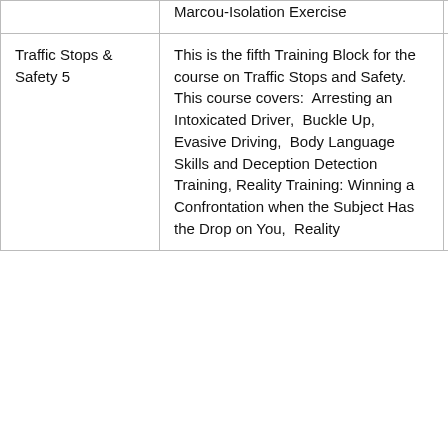| Course | Description | Duration |
| --- | --- | --- |
|  | Marcou-Isolation Exercise |  |
| Traffic Stops & Safety 5 | This is the fifth Training Block for the course on Traffic Stops and Safety. This course covers:  Arresting an Intoxicated Driver,  Buckle Up,  Evasive Driving,  Body Language Skills and Deception Detection Training, Reality Training: Winning a Confrontation when the Subject Has the Drop on You,  Reality | 1h |